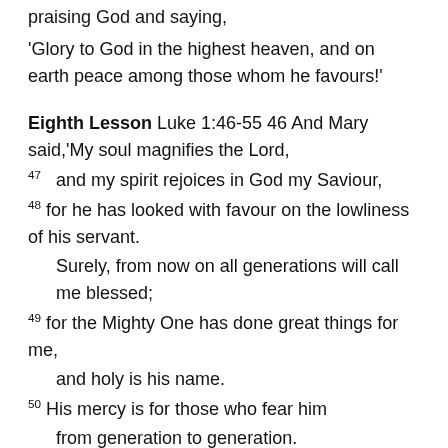praising God and saying,
'Glory to God in the highest heaven, and on earth peace among those whom he favours!'
Eighth Lesson Luke 1:46-55 46 And Mary said,'My soul magnifies the Lord,
47 and my spirit rejoices in God my Saviour,
48 for he has looked with favour on the lowliness of his servant.
Surely, from now on all generations will call me blessed;
49 for the Mighty One has done great things for me,
and holy is his name.
50 His mercy is for those who fear him
from generation to generation.
51 He has shown strength with his arm;
he has scattered the proud in the thoughts of their hearts.
52 He has brought down the powerful from their thrones,
and lifted up the lowly;